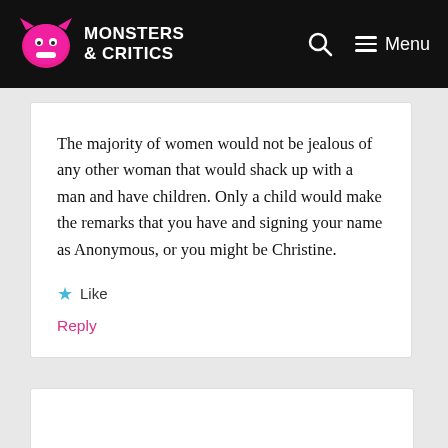Monsters & Critics — Menu
The majority of women would not be jealous of any other woman that would shack up with a man and have children. Only a child would make the remarks that you have and signing your name as Anonymous, or you might be Christine.
Like
Reply